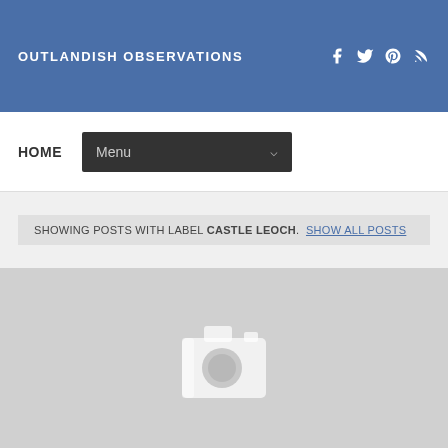OUTLANDISH OBSERVATIONS
HOME  Menu
SHOWING POSTS WITH LABEL CASTLE LEOCH.  SHOW ALL POSTS
[Figure (photo): Gray placeholder image with a white camera icon in the center]